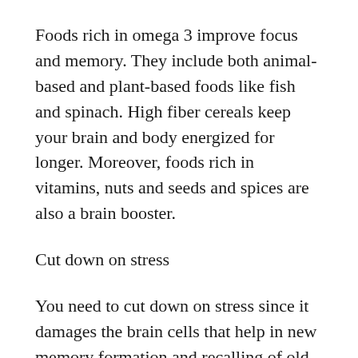Foods rich in omega 3 improve focus and memory. They include both animal-based and plant-based foods like fish and spinach. High fiber cereals keep your brain and body energized for longer. Moreover, foods rich in vitamins, nuts and seeds and spices are also a brain booster.
Cut down on stress
You need to cut down on stress since it damages the brain cells that help in new memory formation and recalling of old ones. You should learn to deal with your emotions to avoid getting depressed. Deep breathing and meditation is one way to manage stress.